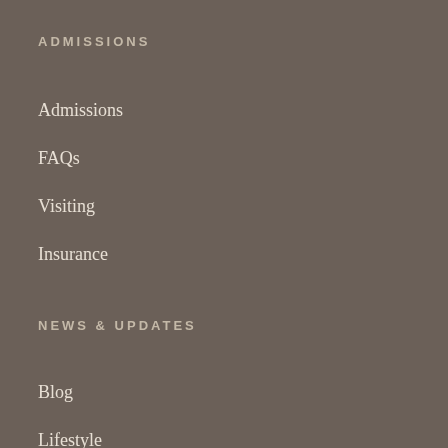ADMISSIONS
Admissions
FAQs
Visiting
Insurance
NEWS & UPDATES
Blog
Lifestyle
Alumni
Insights